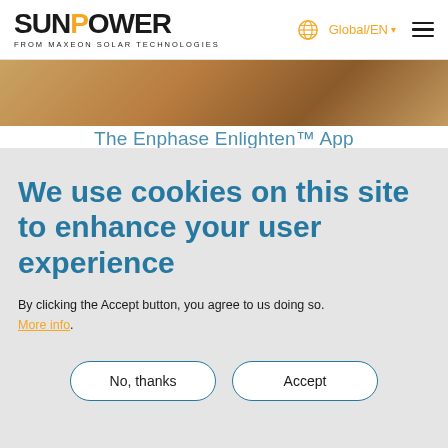SUNPOWER FROM MAXEON SOLAR TECHNOLOGIES | Global/EN
[Figure (photo): Partial photo strip showing a person and solar panels, partially obscured by cookie overlay]
The Enphase Enlighten™ App
We use cookies on this site to enhance your user experience
By clicking the Accept button, you agree to us doing so. More info.
No, thanks | Accept